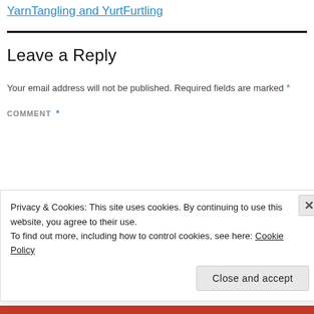YarnTangling and YurtFurtling
Leave a Reply
Your email address will not be published. Required fields are marked *
COMMENT *
Privacy & Cookies: This site uses cookies. By continuing to use this website, you agree to their use.
To find out more, including how to control cookies, see here: Cookie Policy
Close and accept